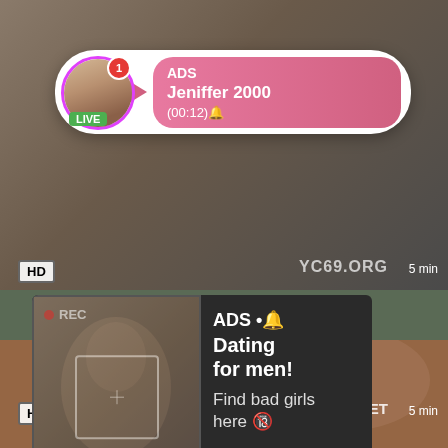[Figure (screenshot): Adult video website screenshot with overlaid ads. Top panel shows a dark video thumbnail with HD badge and YC69.ORG watermark and 5 min label. A notification card shows avatar with LIVE badge, pink gradient panel with ADS, Jeniffer 2000, (00:12). Middle section shows a dark ad card with REC camera photo on left and ADS Dating for men! Find bad girls here text on right. Bottom panel shows another video thumbnail with teen, and slu... links, HD badge, WT18.NET watermark, and 5 min label.]
ADS
Jeniffer 2000
(00:12)🔔
LIVE
HD
YC69.ORG
5 min
REC
ADS • 🔔 Dating for men!
Find bad girls here 🔞
teen,
slu...
HD
WT18.NET
5 min